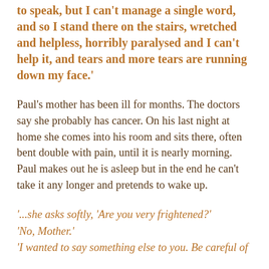to speak, but I can't manage a single word, and so I stand there on the stairs, wretched and helpless, horribly paralysed and I can't help it, and tears and more tears are running down my face.'
Paul's mother has been ill for months. The doctors say she probably has cancer. On his last night at home she comes into his room and sits there, often bent double with pain, until it is nearly morning. Paul makes out he is asleep but in the end he can't take it any longer and pretends to wake up.
'...she asks softly, 'Are you very frightened?'
'No, Mother.'
'I wanted to say something else to you. Be careful of